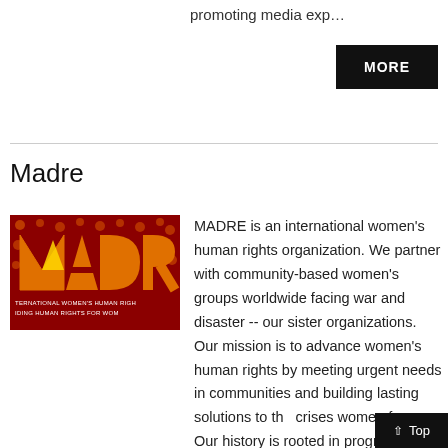promoting media exp…
MORE
Madre
[Figure (logo): MADRE logo — dark red background with orange MADRE lettering and circular dot pattern, subtitle text: TERNATIONAL WOMEN'S HUMAN RIGHTS / IDING HUMAN RIGHTS FOR WOM]
MADRE is an international women's human rights organization. We partner with community-based women's groups worldwide facing war and disaster -- our sister organizations. Our mission is to advance women's human rights by meeting urgent needs in communities and building lasting solutions to the crises women face. Our history is rooted in progressive movements for peace, justice and...